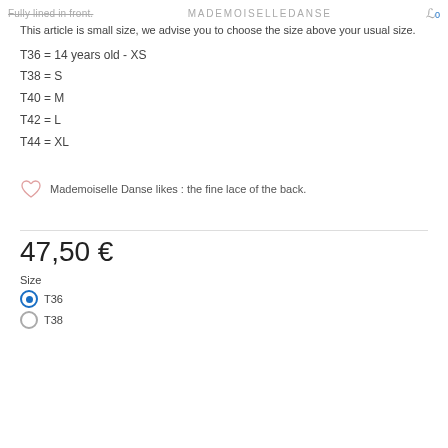Fully lined in front.  MADEMOISELLEDANSE
This article is small size, we advise you to choose the size above your usual size.
T36 = 14 years old - XS
T38 = S
T40 = M
T42 = L
T44 = XL
Mademoiselle Danse likes : the fine lace of the back.
47,50 €
Size
T36 (selected)
T38